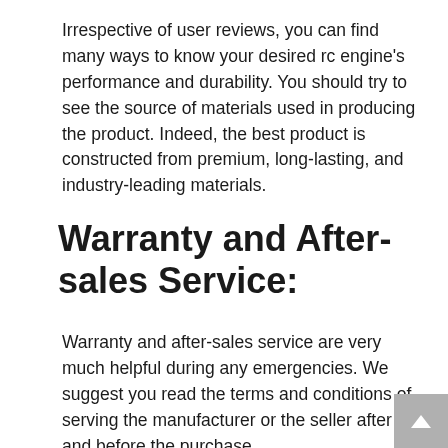Irrespective of user reviews, you can find many ways to know your desired rc engine's performance and durability. You should try to see the source of materials used in producing the product. Indeed, the best product is constructed from premium, long-lasting, and industry-leading materials.
Warranty and After-sales Service:
Warranty and after-sales service are very much helpful during any emergencies. We suggest you read the terms and conditions of serving the manufacturer or the seller after and before the purchase.